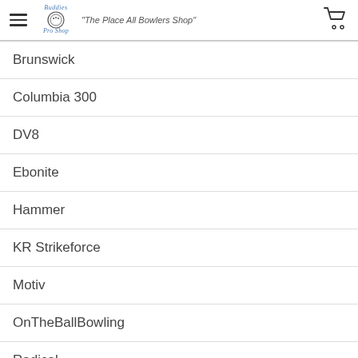Buddies Pro Shop — "The Place All Bowlers Shop"
Brunswick
Columbia 300
DV8
Ebonite
Hammer
KR Strikeforce
Motiv
OnTheBallBowling
Radical